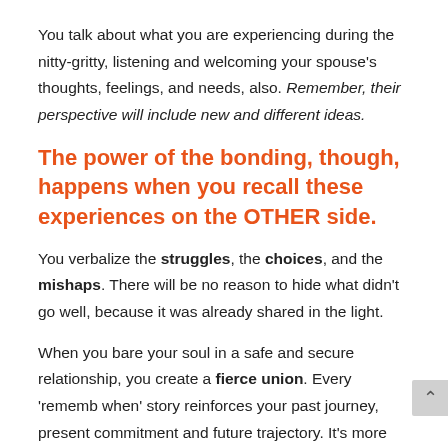You talk about what you are experiencing during the nitty-gritty, listening and welcoming your spouse's thoughts, feelings, and needs, also. Remember, their perspective will include new and different ideas.
The power of the bonding, though, happens when you recall these experiences on the OTHER side.
You verbalize the struggles, the choices, and the mishaps. There will be no reason to hide what didn't go well, because it was already shared in the light.
When you bare your soul in a safe and secure relationship, you create a fierce union. Every 'rememb when' story reinforces your past journey, present commitment and future trajectory. It's more than words...